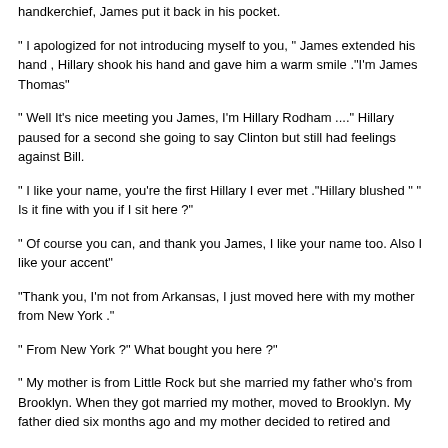handkerchief, James put it back in his pocket.
" I apologized for not introducing myself to you, " James extended his hand , Hillary shook his hand and gave him a warm smile ."I'm James Thomas"
" Well It's nice meeting you James, I'm Hillary Rodham ...." Hillary paused for a second she going to say Clinton but still had feelings against Bill.
" I like your name, you're the first Hillary I ever met ."Hillary blushed " " Is it fine with you if I sit here ?"
" Of course you can, and thank you James, I like your name too. Also I like your accent"
"Thank you, I'm not from Arkansas, I just moved here with my mother from New York ."
" From New York ?" What bought you here ?"
" My mother is from Little Rock but she married my father who's from Brooklyn. When they got married my mother, moved to Brooklyn. My father died six months ago and my mother decided to retired and